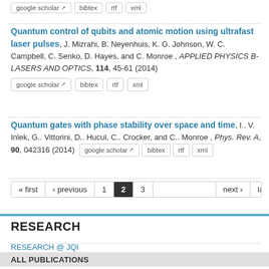google scholar | bibtex | rtf | xml
Quantum control of qubits and atomic motion using ultrafast laser pulses, J. Mizrahi, B. Neyenhuis, K. G. Johnson, W. C. Campbell, C. Senko, D. Hayes, and C. Monroe , APPLIED PHYSICS B-LASERS AND OPTICS, 114, 45-61 (2014)
google scholar | bibtex | rtf | xml
Quantum gates with phase stability over space and time, I.. V. Inlek, G.. Vittorini, D.. Hucul, C.. Crocker, and C.. Monroe , Phys. Rev. A, 90, 042316 (2014)
google scholar | bibtex | rtf | xml
« first | ‹ previous | 1 | 2 | 3 | next › | last »
RESEARCH
RESEARCH @ JQI
ALL PUBLICATIONS
BES PUBLICATIONS